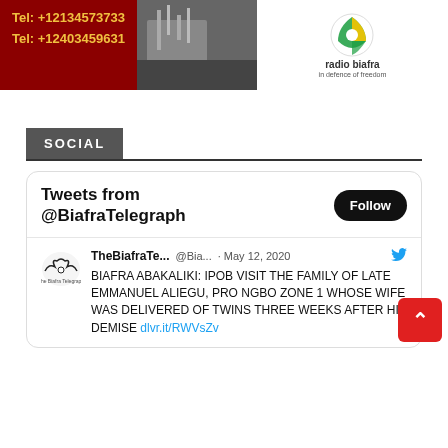[Figure (screenshot): Banner advertisement for Radio Biafra with phone numbers Tel: +12134573733 and Tel: +12403459631 on dark red background, satellite image in center, Radio Biafra logo on right]
SOCIAL
[Figure (screenshot): Embedded Twitter widget showing tweets from @BiafraTelegraph with a Follow button. Tweet by TheBiafraTelegraph @Bia... May 12, 2020: BIAFRA ABAKALIKI: IPOB VISIT THE FAMILY OF LATE EMMANUEL ALIEGU, PRO NGBO ZONE 1 WHOSE WIFE WAS DELIVERED OF TWINS THREE WEEKS AFTER HIS DEMISE dlvr.it/RWVsZv]